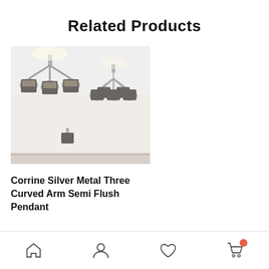Related Products
[Figure (photo): Photo of Corrine Silver Metal Three Curved Arm Semi Flush Pendant chandeliers — three chandeliers with grey drum shades and silver curved arms hanging in a room, plus a small wall sconce]
Corrine Silver Metal Three Curved Arm Semi Flush Pendant
Navigation bar with home, user, heart, and cart icons